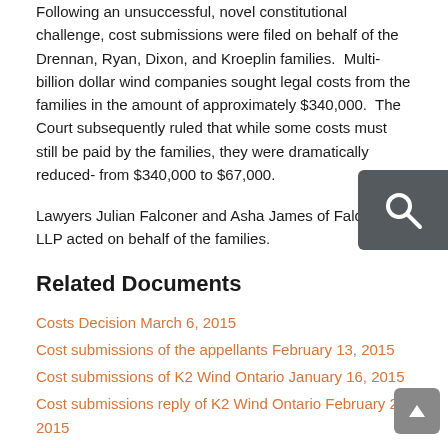Following an unsuccessful, novel constitutional challenge, cost submissions were filed on behalf of the Drennan, Ryan, Dixon, and Kroeplin families. Multi-billion dollar wind companies sought legal costs from the families in the amount of approximately $340,000. The Court subsequently ruled that while some costs must still be paid by the families, they were dramatically reduced- from $340,000 to $67,000.
Lawyers Julian Falconer and Asha James of Falconers LLP acted on behalf of the families.
Related Documents
Costs Decision March 6, 2015
Cost submissions of the appellants February 13, 2015
Cost submissions of K2 Wind Ontario January 16, 2015
Cost submissions reply of K2 Wind Ontario February 23, 2015
Cost submissions of SP Armow Wind Ontario January 16, 2015
Cost submissions reply of SP Armow Wind Ontario